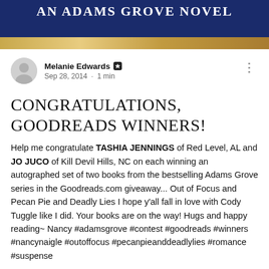[Figure (illustration): Dark blue banner with text 'AN ADAMS GROVE NOVEL' in white bold letters, with a gold/yellow decorative strip below showing a partial book cover image]
Melanie Edwards · Sep 28, 2014 · 1 min
CONGRATULATIONS, GOODREADS WINNERS!
Help me congratulate TASHIA JENNINGS of Red Level, AL and JO JUCO of Kill Devil Hills, NC on each winning an autographed set of two books from the bestselling Adams Grove series in the Goodreads.com giveaway... Out of Focus and Pecan Pie and Deadly Lies I hope y'all fall in love with Cody Tuggle like I did. Your books are on the way! Hugs and happy reading~ Nancy #adamsgrove #contest #goodreads #winners #nancynaigle #outoffocus #pecanpieanddeadlylies #romance #suspense